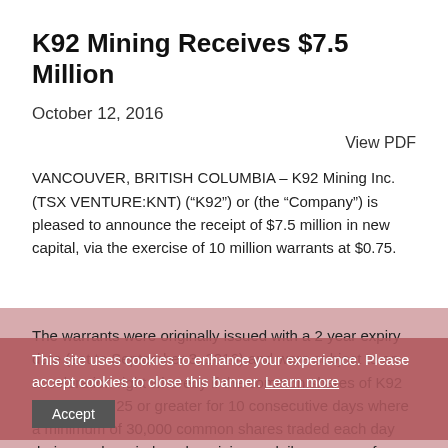K92 Mining Receives $7.5 Million
October 12, 2016
View PDF
VANCOUVER, BRITISH COLUMBIA – K92 Mining Inc. (TSX VENTURE:KNT) (“K92”) or (the “Company”) is pleased to announce the receipt of $7.5 million in new capital, via the exercise of 10 million warrants at $0.75.
The warrants were originally issued with a 2 year expiry date (set to September 3, 2016) and were subject to an acceleration right whereby if the common shares of K92 traded at $1.25 or greater for 10 consecutive days where a minimum of 30,000 common shares traded each day during such period, and a minimum daily average of 100,000 common shares traded during such period, then the Company had the option to accelerate the expiry date of the warrants to the 30th day following the date on which the Company
This site uses cookies to enhance your experience. Please accept cookies to close this banner. Learn more
Accept